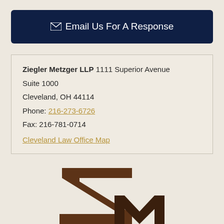Email Us For A Response
Ziegler Metzger LLP 1111 Superior Avenue Suite 1000 Cleveland, OH 44114 Phone: 216-273-6726 Fax: 216-781-0714 Cleveland Law Office Map
[Figure (logo): ZM monogram logo in dark brown serif letters]